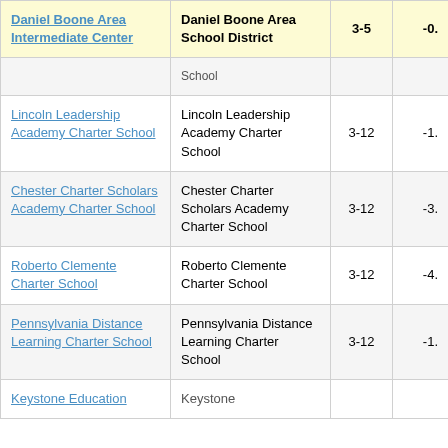| School | LEA | Grades | Value |
| --- | --- | --- | --- |
| Daniel Boone Area Intermediate Center | Daniel Boone Area School District | 3-5 | -0. |
| School (partial) | School (partial) |  |  |
| Lincoln Leadership Academy Charter School | Lincoln Leadership Academy Charter School | 3-12 | -1. |
| Chester Charter Scholars Academy Charter School | Chester Charter Scholars Academy Charter School | 3-12 | -3. |
| Roberto Clemente Charter School | Roberto Clemente Charter School | 3-12 | -4. |
| Pennsylvania Distance Learning Charter School | Pennsylvania Distance Learning Charter School | 3-12 | -1. |
| Keystone Education (partial) | Keystone (partial) |  |  |